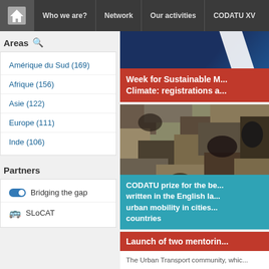Who we are? | Network | Our activities | CODATU XV
Areas
Amérique du Sud (169)
Afrique (156)
Asie (122)
Europe (111)
Inde (106)
Partners
Bridging the gap
SLoCAT
Week for Sustainable M... Climate: registrations a...
[Figure (photo): Camouflage pattern background image]
CODATU prize for the be... written in the English la... urban mobility in cities... countries
Launch of two mentorin...
The Urban Transport community, whic...